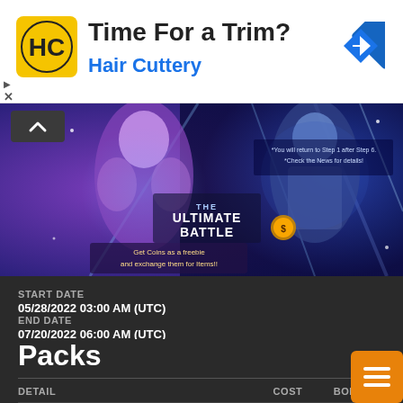[Figure (screenshot): Advertisement banner for Hair Cuttery with logo, title 'Time For a Trim?', subtitle 'Hair Cuttery', and navigation icon]
[Figure (screenshot): Game promotional banner for 'The Ultimate Battle' event showing anime-style characters with text 'Get Coins as a freebie and exchange them for items!!' and note about returning to Step 1 after Step 6]
START DATE
05/28/2022 03:00 AM (UTC)
END DATE
07/20/2022 06:00 AM (UTC)
Packs
| DETAIL | COST | BONUS |
| --- | --- | --- |
| With this Summon, you can acquire three characters. | x300 | x1 |